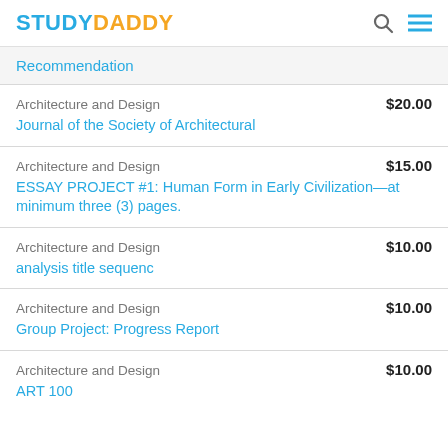STUDYDADDY
Recommendation
Architecture and Design  $20.00
Journal of the Society of Architectural
Architecture and Design  $15.00
ESSAY PROJECT #1: Human Form in Early Civilization—at minimum three (3) pages.
Architecture and Design  $10.00
analysis title sequenc
Architecture and Design  $10.00
Group Project: Progress Report
Architecture and Design  $10.00
ART 100